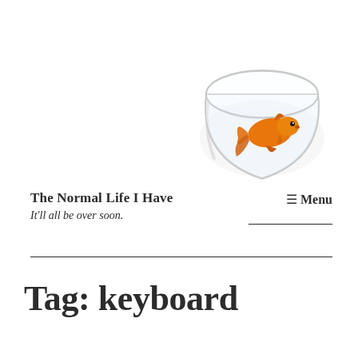[Figure (illustration): A goldfish in a round glass fishbowl, photographed against a white background. The goldfish is orange with flowing fins.]
The Normal Life I Have
It'll all be over soon.
≡ Menu
Tag: keyboard